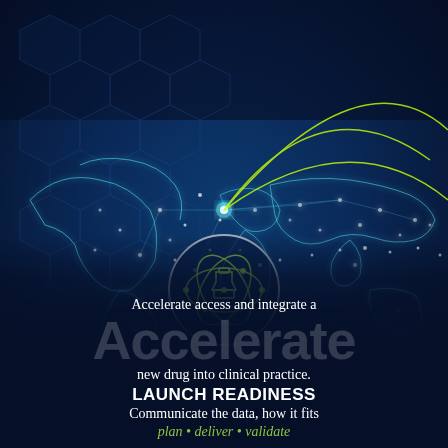[Figure (illustration): Dark blue technology background showing a glowing digital world map with white network nodes and yellow/green arc connection lines, with hexagonal patterns on the left side. A circular logo/icon in the center shows a stylized atom with a chess piece (rook/castle) inside, rendered in green lines on a dark blue background with a grey circle border.]
Accelerate access and integrate a new drug into clinical practice.
Accelerate
LAUNCH READINESS
Communicate the data, how it fits
plan • deliver • validate